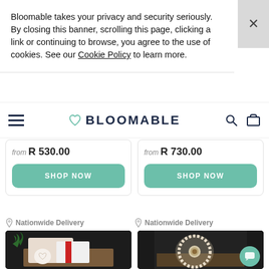Bloomable takes your privacy and security seriously. By closing this banner, scrolling this page, clicking a link or continuing to browse, you agree to the use of cookies. See our Cookie Policy to learn more.
BLOOMABLE
from R 530.00
SHOP NOW
from R 730.00
SHOP NOW
Nationwide Delivery
[Figure (photo): Gift box with knitted items, pine greenery, heart ornament with text, and a white towel with red stripe on dark background]
Nationwide Delivery
[Figure (photo): Gift box with pearl necklace/bracelet, open dark gift box with shredded paper fill, and teal chat bubble icon overlay]